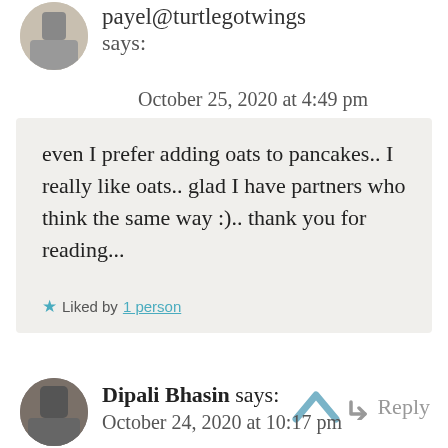payel@turtlegotwings says:
October 25, 2020 at 4:49 pm
even I prefer adding oats to pancakes.. I really like oats.. glad I have partners who think the same way :).. thank you for reading...
Liked by 1 person
Reply
Dipali Bhasin says:
October 24, 2020 at 10:17 pm